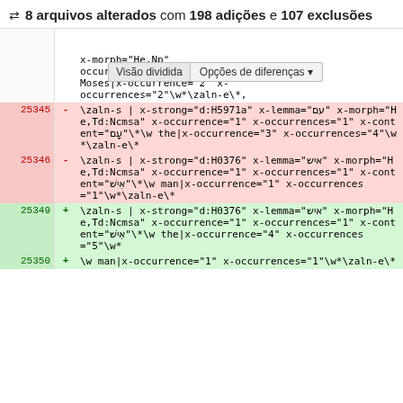8 arquivos alterados com 198 adições e 107 exclusões
[Figure (screenshot): Git diff view showing code changes with line numbers, deletion rows (red background) and addition rows (green background). Contains toolbar with 'Visão dividida' and 'Opções de diferenças' buttons.]
x-morph="He,Np" occurrences="1" x-content="..." x-w Moses|x-occurrence="2" x-occurrences="2"\w*\zaln-e\*,
25345 - \zaln-s | x-strong="d:H5971a" x-lemma="עם" x-morph="He,Td:Ncmsa" x-occurrence="1" x-occurrences="1" x-content="עָם"\*\w the|x-occurrence="3" x-occurrences="4"\w*\zaln-e\*
25346 - \zaln-s | x-strong="d:H0376" x-lemma="איש" x-morph="He,Td:Ncmsa" x-occurrence="1" x-occurrences="1" x-content="אִישׁ"\*\w man|x-occurrence="1" x-occurrences="1"\w*\zaln-e\*
25349 + \zaln-s | x-strong="d:H0376" x-lemma="איש" x-morph="He,Td:Ncmsa" x-occurrence="1" x-occurrences="1" x-content="אִישׁ"\*\w the|x-occurrence="4" x-occurrences="5"\w*
25350 + \w man|x-occurrence="1" x-occurrences="1"\w*\zaln-e\*